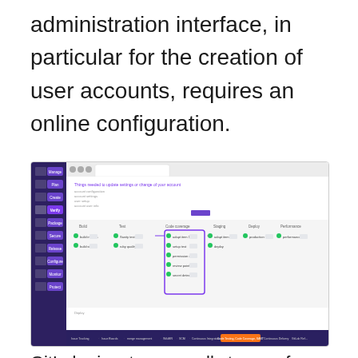administration interface, in particular for the creation of user accounts, requires an online configuration.
[Figure (screenshot): GitLab web interface screenshot showing the DevOps pipeline stages: Build, Test, Code coverage, Staging, Deploy, Performance. The left sidebar shows navigation items: Manage, Plan, Create, Verify (active/highlighted), Package, Secure, Release, Configure, Monitor, Protect. The main area shows a pipeline visualization with checkmarks for various tasks.]
GitLab aims to cover all stages of DevOps: project management, task